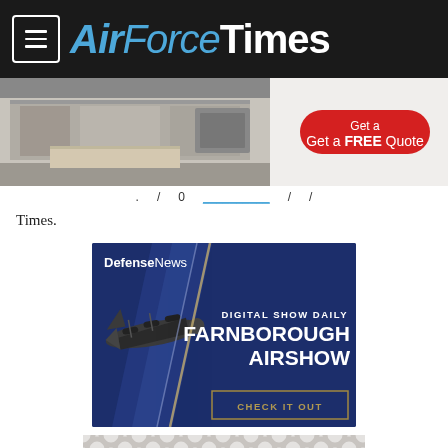AirForceTimes
[Figure (photo): Kitchen advertisement with 'Get a FREE Quote' red button]
Times.
[Figure (infographic): DefenseNews advertisement for Digital Show Daily - Farnborough Airshow with CHECK IT OUT button, featuring a military aircraft]
[Figure (other): Bottom advertisement with repeating circle pattern]